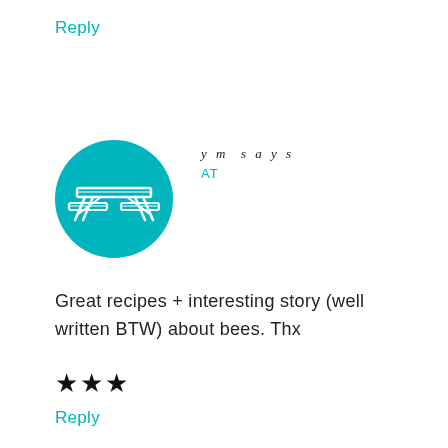Reply
[Figure (illustration): Teal circular avatar icon with a white line-art picnic table illustration]
ym says
AT
Great recipes + interesting story (well written BTW) about bees. Thx
★★★
Reply